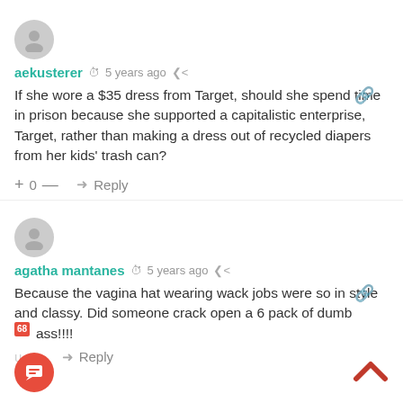[Figure (illustration): Gray circular avatar with person silhouette icon, first comment]
aekusterer  5 years ago
If she wore a $35 dress from Target, should she spend time in prison because she supported a capitalistic enterprise, Target, rather than making a dress out of recycled diapers from her kids' trash can?
+ 0 —  Reply
[Figure (illustration): Gray circular avatar with person silhouette icon, second comment]
agatha mantanes  5 years ago
Because the vagina hat wearing wack jobs were so in style and classy. Did someone crack open a 6 pack of dumb ass!!!!
Reply